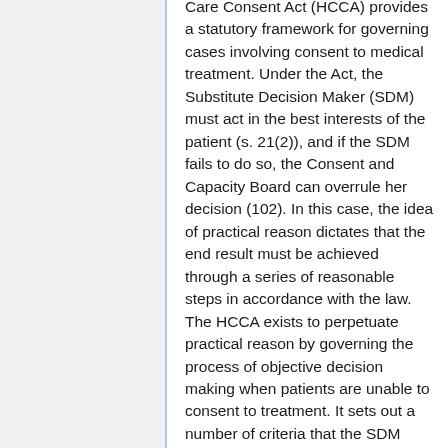Care Consent Act (HCCA) provides a statutory framework for governing cases involving consent to medical treatment. Under the Act, the Substitute Decision Maker (SDM) must act in the best interests of the patient (s. 21(2)), and if the SDM fails to do so, the Consent and Capacity Board can overrule her decision (102). In this case, the idea of practical reason dictates that the end result must be achieved through a series of reasonable steps in accordance with the law. The HCCA exists to perpetuate practical reason by governing the process of objective decision making when patients are unable to consent to treatment. It sets out a number of criteria that the SDM must consider in making her decision, such as the patient's medical condition, well being, values,